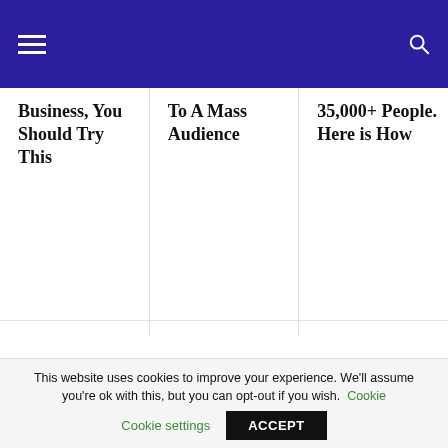Navigation bar with hamburger menu and search icon
Business, You Should Try This
To A Mass Audience
35,000+ People. Here is How
Shares of Tata Motors have gained about 48% so far this month, hitting an over 4-1/2-year high on Wednesday. With a 168% year-to-date surge, the stock has outperformed the broader Nifty auto index, which has gained about 28%.
This website uses cookies to improve your experience. We'll assume you're ok with this, but you can opt-out if you wish. Cookie settings ACCEPT